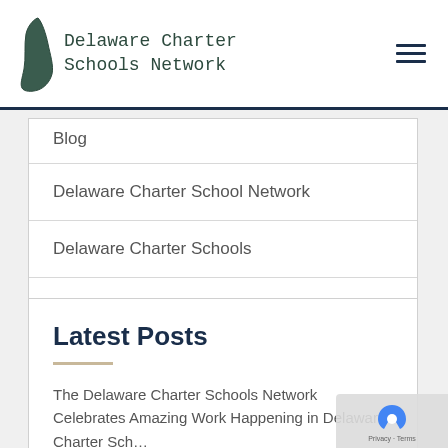Delaware Charter Schools Network
Blog
Delaware Charter School Network
Delaware Charter Schools
Press Releases
Latest Posts
The Delaware Charter Schools Network Celebrates Amazing Work Happening in Delaware Charter Sch…